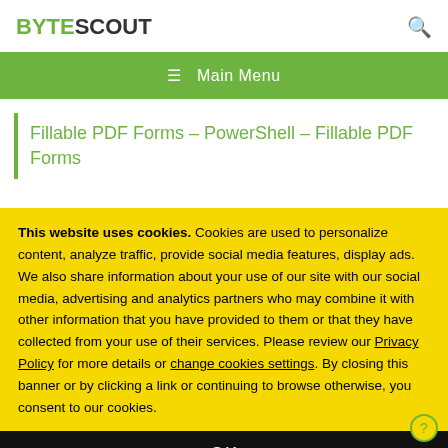BYTESCOUT
Fillable PDF Forms – PowerShell – Fillable PDF Forms
This website uses cookies. Cookies are used to personalize content, analyze traffic, provide social media features, display ads. We also share information about your use of our site with our social media, advertising and analytics partners who may combine it with other information that you have provided to them or that they have collected from your use of their services. Please review our Privacy Policy for more details or change cookies settings. By closing this banner or by clicking a link or continuing to browse otherwise, you consent to our cookies.
OK